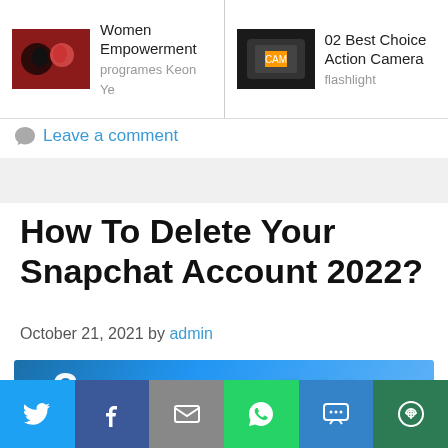[Figure (screenshot): Navigation bar with two article thumbnails: 'Women Empowerment programes Keon Ye' on the left and '02 Best Choice Action Camera flashlight' on the right]
Leave a comment
How To Delete Your Snapchat Account 2022?
October 21, 2021 by admin
[Figure (screenshot): Featured article image showing 'How To Delete Your' text with Snapchat ghost logo and question mark on blue gradient background]
[Figure (infographic): Social sharing bar with Twitter, Facebook, Email, WhatsApp, SMS, and More buttons]